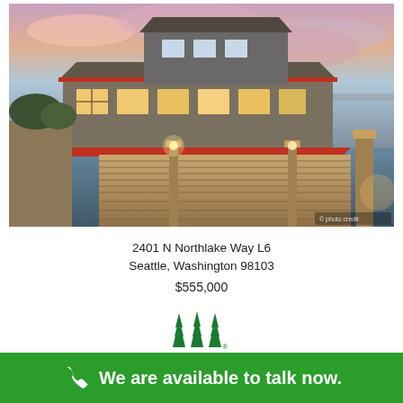[Figure (photo): A houseboat/floating home docked at a marina in Seattle, photographed at sunset/dusk. The structure has red trim, a wooden dock in the foreground, water on both sides, and a colorful sky.]
2401 N Northlake Way L6
Seattle, Washington 98103
$555,000
[Figure (logo): Windermere Real Estate logo — three stylized green tree shapes]
Active
Listing courtesy of Windermere RE North, Inc.
We are available to talk now.